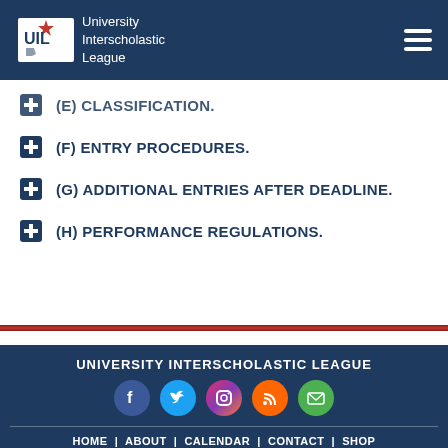University Interscholastic League
(e) CLASSIFICATION.
(f) ENTRY PROCEDURES.
(g) ADDITIONAL ENTRIES AFTER DEADLINE.
(h) PERFORMANCE REGULATIONS.
UNIVERSITY INTERSCHOLASTIC LEAGUE  HOME | ABOUT | CALENDAR | CONTACT | SHOP